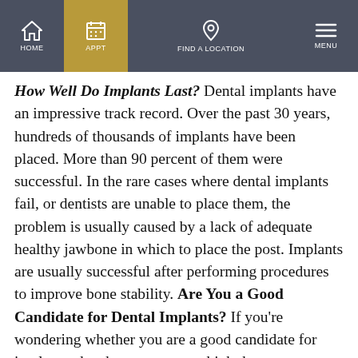HOME | APPT | FIND A LOCATION | MENU
How Well Do Implants Last? Dental implants have an impressive track record. Over the past 30 years, hundreds of thousands of implants have been placed. More than 90 percent of them were successful. In the rare cases where dental implants fail, or dentists are unable to place them, the problem is usually caused by a lack of adequate healthy jawbone in which to place the post. Implants are usually successful after performing procedures to improve bone stability. Are You a Good Candidate for Dental Implants? If you're wondering whether you are a good candidate for implants, the chances are very high that you are. Few medical problems prevent their use. Age is usually not a factor, even when osteoporosis is present. In fact, implants strengthen and stabilize the remaining bone in your mouth where teeth have been lost. Placement of single and multiple implants are possible options, and implants can